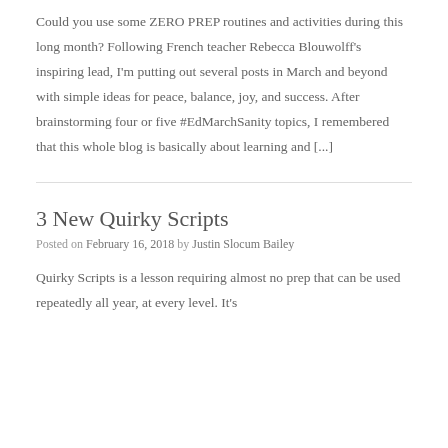Could you use some ZERO PREP routines and activities during this long month? Following French teacher Rebecca Blouwolff's inspiring lead, I'm putting out several posts in March and beyond with simple ideas for peace, balance, joy, and success. After brainstorming four or five #EdMarchSanity topics, I remembered that this whole blog is basically about learning and [...]
3 New Quirky Scripts
Posted on February 16, 2018 by Justin Slocum Bailey
Quirky Scripts is a lesson requiring almost no prep that can be used repeatedly all year, at every level. It's